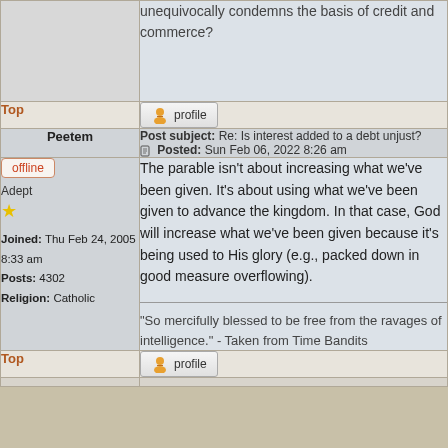unequivocally condemns the basis of credit and commerce?
Top
profile
Peetem
Post subject: Re: Is interest added to a debt unjust? Posted: Sun Feb 06, 2022 8:26 am
offline
Adept
Joined: Thu Feb 24, 2005 8:33 am
Posts: 4302
Religion: Catholic
The parable isn't about increasing what we've been given. It's about using what we've been given to advance the kingdom. In that case, God will increase what we've been given because it's being used to His glory (e.g., packed down in good measure overflowing).
"So mercifully blessed to be free from the ravages of intelligence." - Taken from Time Bandits
Top
profile